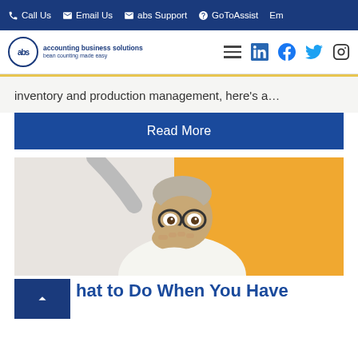Call Us  Email Us  abs Support  GoToAssist  Em
[Figure (logo): ABS accounting business solutions logo with tagline 'bean counting made easy']
inventory and production management, here’s a…
Read More
[Figure (photo): Elderly man with glasses looking surprised, covering mouth with hand, orange background]
hat to Do When You Have